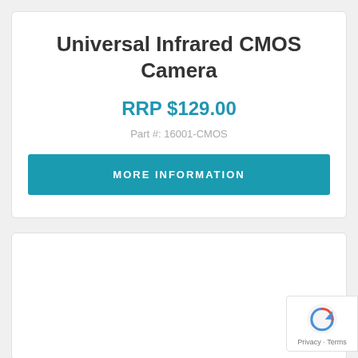Universal Infrared CMOS Camera
RRP $129.00
Part #: 16001-CMOS
MORE INFORMATION
[Figure (logo): reCAPTCHA badge with Google logo and Privacy - Terms text]